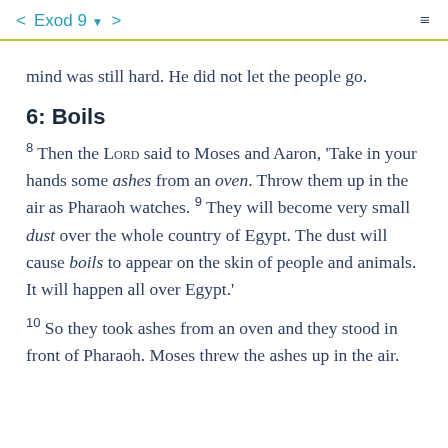< Exod 9 ▼ >
mind was still hard. He did not let the people go.
6: Boils
8 Then the LORD said to Moses and Aaron, 'Take in your hands some ashes from an oven. Throw them up in the air as Pharaoh watches. 9 They will become very small dust over the whole country of Egypt. The dust will cause boils to appear on the skin of people and animals. It will happen all over Egypt.'
10 So they took ashes from an oven and they stood in front of Pharaoh. Moses threw the ashes up in the air.